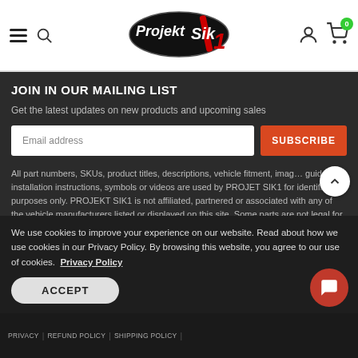ProjektSik1 navigation header with hamburger menu, search icon, logo, user icon, and cart (0)
JOIN IN OUR MAILING LIST
Get the latest updates on new products and upcoming sales
Email address [input] SUBSCRIBE [button]
All part numbers, SKUs, product titles, descriptions, vehicle fitment, images, guides, installation instructions, symbols or videos are used by PROJEKT SIK1 for identification purposes only. PROJEKT SIK1 is not affiliated, partnered or associated with any of the vehicle manufacturers listed or displayed on this site. Some parts are not legal for use in California or other
We use cookies to improve your experience on our website. Read about how we use cookies in our Privacy Policy. By browsing this website, you agree to our use of cookies. Privacy Policy
ACCEPT
PRIVACY | REFUND POLICY | SHIPPING POLICY |